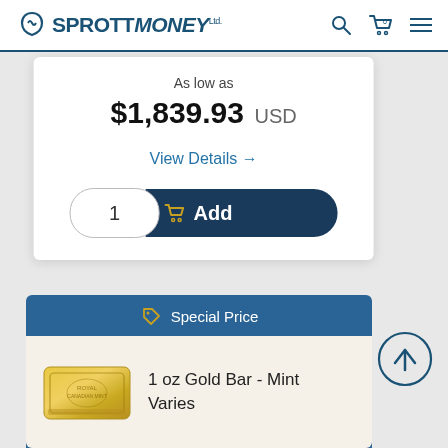SPROTTMONEY
As low as
$1,839.93 USD
View Details →
1  Add
Special Price
1 oz Gold Bar - Mint Varies